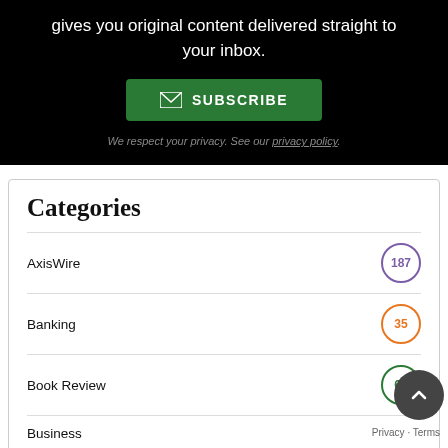gives you original content delivered straight to your inbox.
SUBSCRIBE
We respect your privacy. See our privacy policy.
Categories
AxisWire 187
Banking 35
Book Review 62
Business
Cultivation